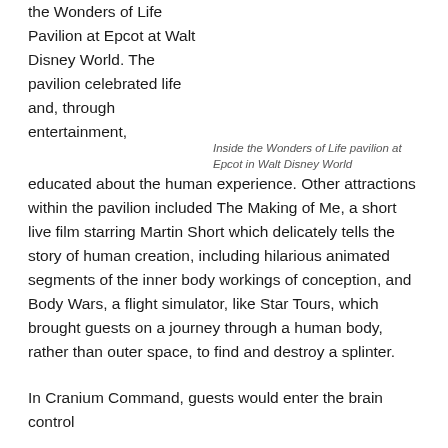the Wonders of Life Pavilion at Epcot at Walt Disney World. The pavilion celebrated life and, through entertainment, educated about the human experience. Other attractions within the pavilion included The Making of Me, a short live film starring Martin Short which delicately tells the story of human creation, including hilarious animated segments of the inner body workings of conception, and Body Wars, a flight simulator, like Star Tours, which brought guests on a journey through a human body, rather than outer space, to find and destroy a splinter.
Inside the Wonders of Life pavilion at Epcot in Walt Disney World
In Cranium Command, guests would enter the brain control